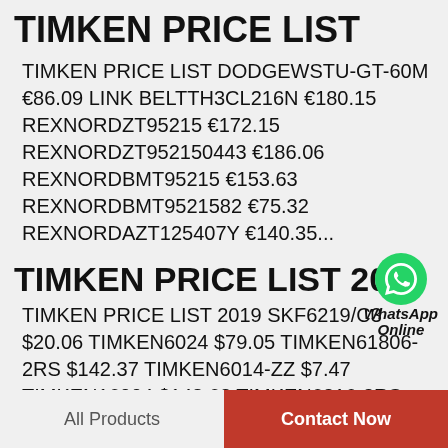TIMKEN PRICE LIST
TIMKEN PRICE LIST DODGEWSTU-GT-60M €86.09 LINK BELTTH3CL216N €180.15 REXNORDZT95215 €172.15 REXNORDZT952150443 €186.06 REXNORDBMT95215 €153.63 REXNORDBMT9521582 €75.32 REXNORDAZT125407Y €140.35...
TIMKEN PRICE LIST 2019
[Figure (logo): WhatsApp green circle icon with phone symbol, text 'WhatsApp Online' in bold italic]
TIMKEN PRICE LIST 2019 SKF6219/C3 $20.06 TIMKEN6024 $79.05 TIMKEN61806-2RS $142.37 TIMKEN6014-ZZ $7.47 TIMKEN16004 $148.68 TIMKEN6216-2RS $171.34 TIMKEN6214-2RS $43.42 SKF6017-2Z/C3 $134.94...
All Products
Contact Now